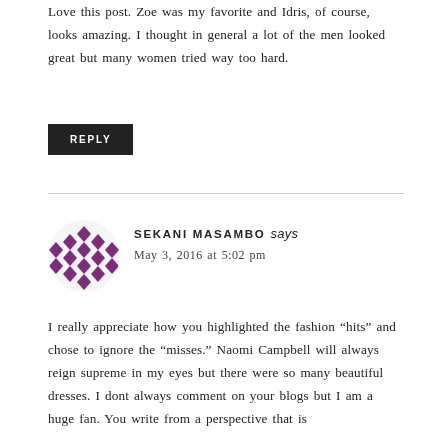Love this post. Zoe was my favorite and Idris, of course, looks amazing. I thought in general a lot of the men looked great but many women tried way too hard.
REPLY
SEKANI MASAMBO says
May 3, 2016 at 5:02 pm
I really appreciate how you highlighted the fashion “hits” and chose to ignore the “misses.” Naomi Campbell will always reign supreme in my eyes but there were so many beautiful dresses. I dont always comment on your blogs but I am a huge fan. You write from a perspective that is